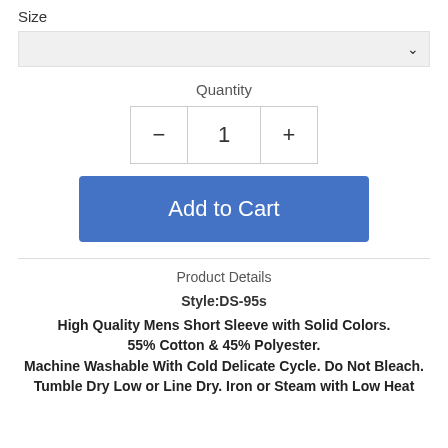Size
[Figure (screenshot): Size dropdown selector with chevron arrow on right side, light gray background]
Quantity
[Figure (screenshot): Quantity selector with minus button, value '1', and plus button]
[Figure (screenshot): Blue 'Add to Cart' button]
Product Details
Style:DS-95s
High Quality Mens Short Sleeve with Solid Colors. 55% Cotton & 45% Polyester. Machine Washable With Cold Delicate Cycle. Do Not Bleach. Tumble Dry Low or Line Dry. Iron or Steam with Low Heat